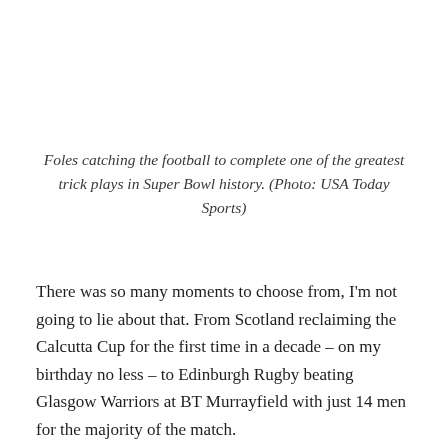Foles catching the football to complete one of the greatest trick plays in Super Bowl history. (Photo: USA Today Sports)
There was so many moments to choose from, I'm not going to lie about that. From Scotland reclaiming the Calcutta Cup for the first time in a decade – on my birthday no less – to Edinburgh Rugby beating Glasgow Warriors at BT Murrayfield with just 14 men for the majority of the match.